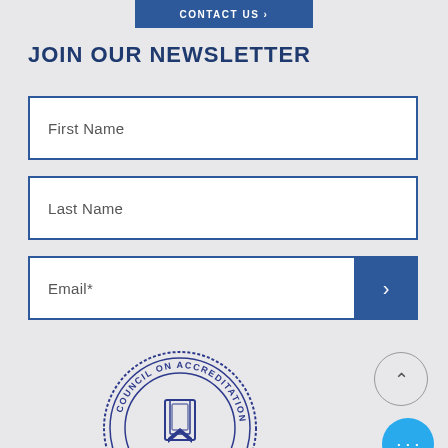[Figure (screenshot): Partially cropped dark blue 'CONTACT US' button at top of page]
JOIN OUR NEWSLETTER
[Figure (screenshot): Newsletter signup form with First Name field, Last Name field, Email* field with blue submit arrow button]
[Figure (logo): Council on Accreditation (COA) circular stamp seal with bookmark icon in center]
[Figure (other): Scroll-to-top chevron button (circle outline with up arrow) and blue circular more-options button with three dots]